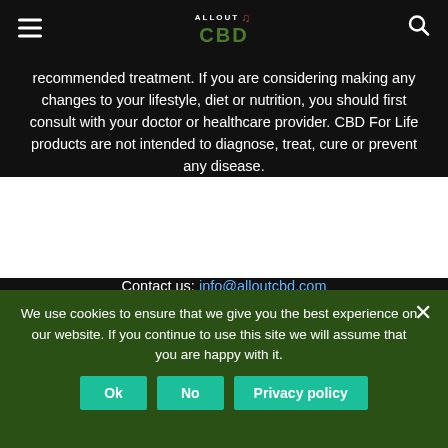ALLOUT CBD
recommended treatment. If you are considering making any changes to your lifestyle, diet or nutrition, you should first consult with your doctor or healthcare provider. CBD For Life products are not intended to diagnose, treat, cure or prevent any disease.
Contact us: info@alloutcbd.com
[Figure (other): Social media icons: Facebook, RSS feed, Twitter]
We use cookies to ensure that we give you the best experience on our website. If you continue to use this site we will assume that you are happy with it.
Ok  No  Privacy policy